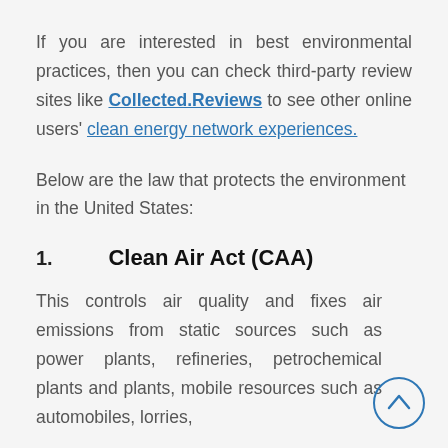If you are interested in best environmental practices, then you can check third-party review sites like Collected.Reviews to see other online users' clean energy network experiences.
Below are the law that protects the environment in the United States:
1.    Clean Air Act (CAA)
This controls air quality and fixes air emissions from static sources such as power plants, refineries, petrochemical plants and plants, mobile resources such as automobiles, lorries,